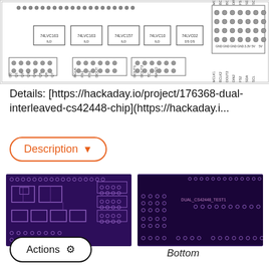[Figure (schematic): PCB schematic diagram showing 74LVC series ICs (74LVC163, 74LVC157, 74LVC10, 74LVC02) with labeled connectors including BCLK, FS1, FS2, DOUT, DOUT1, DOUT2, TC, NANO, MCLK1, BCLK1, BCLK2, BOUT1, BOUT2, DIN1, DIN2, FS1, FS2, SDA, SCL, GND, 3.3V, 5V pins]
Details: [https://hackaday.io/project/176368-dual-interleaved-cs42448-chip](https://hackaday.i...
[Figure (other): Description button with orange border and downward arrow]
[Figure (engineering-diagram): PCB top view - purple background showing component layout including ICs, capacitors and connectors]
[Figure (engineering-diagram): PCB bottom view - purple/dark background showing DUAL_CS42448_TEST1 label and connector pads]
Top
Bottom
[Figure (other): Actions button with gear icon and black border]